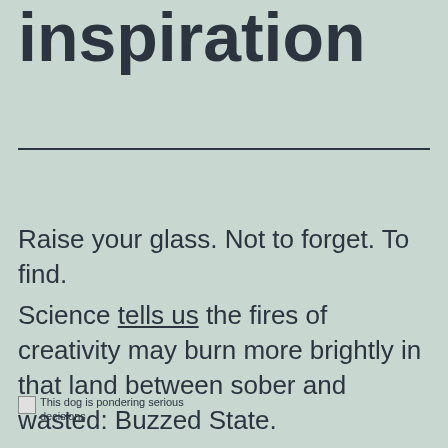inspiration
Raise your glass. Not to forget. To find.
Science tells us the fires of creativity may burn more brightly in that land between sober and wasted: Buzzed State.
This dog is pondering serious decisions